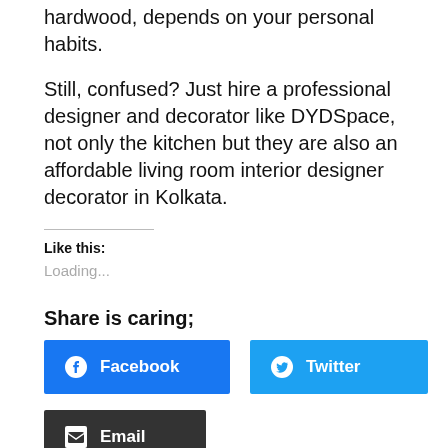hardwood, depends on your personal habits.
Still, confused? Just hire a professional designer and decorator like DYDSpace, not only the kitchen but they are also an affordable living room interior designer decorator in Kolkata.
Like this:
Loading...
Share is caring;
Facebook
Twitter
LinkedIn
Email